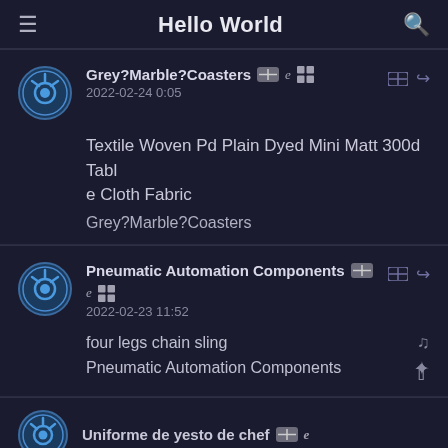Hello World
Grey?Marble?Coasters 2022-02-24 0:05
Textile Woven Pd Plain Dyed Mini Matt 300d Table Cloth Fabric
Grey?Marble?Coasters
Pneumatic Automation Components 2022-02-23 11:52
four legs chain sling
Pneumatic Automation Components
Uniforme de yesto de chef